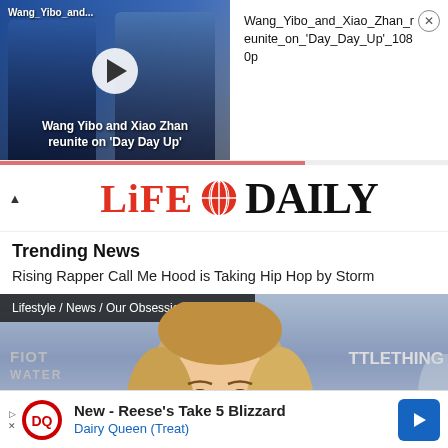[Figure (screenshot): Video thumbnail showing Wang Yibo and Xiao Zhan on Day Day Up TV show, with play button overlay]
Wang_Yibo_and...
Wang_Yibo_and_Xiao_Zhan_reunite_on_'Day_Day_Up'_1080p
Wang Yibo and Xiao Zhan reunite on 'Day Day Up'
[Figure (logo): LiFE DAILY logo with globe icon between red stylized Life text and black serif DAILY text]
Trending News
Rising Rapper Call Me Hood is Taking Hip Hop by Storm
[Figure (photo): Photo of a blonde woman at an event, with brand logos FIOT WATER and TTLETHING visible in background. Navigation bar shows: Lifestyle / News / Our Obsessions]
Lifestyle / News / Our Obsessions
[Figure (infographic): Advertisement banner: New - Reese's Take 5 Blizzard, Dairy Queen (Treat) with DQ logo and blue arrow button]